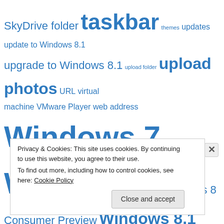SkyDrive folder taskbar themes updates update to Windows 8.1 upgrade to Windows 8.1 upload folder upload photos URL virtual machine VMware Player web address Windows 7 Windows 8 Windows 8 Consumer Preview Windows 8.1 Windows 10 Windows Explorer Windows Live Windows Live ID Windows Live Mail Windows Live Photo Gallery Windows Live SkyDrive Windows Live Writer WordPress
Privacy & Cookies: This site uses cookies. By continuing to use this website, you agree to their use.
To find out more, including how to control cookies, see here: Cookie Policy
Close and accept